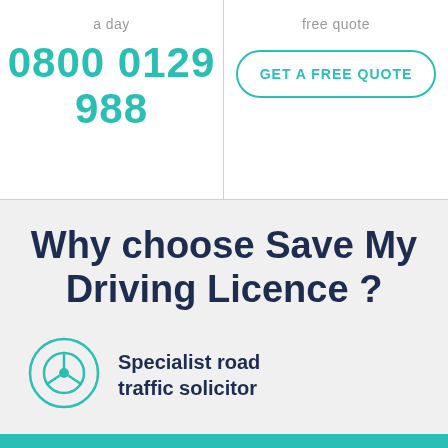a day
free quote
0800 0129 988
GET A FREE QUOTE
Why choose Save My Driving Licence ?
[Figure (illustration): Teal circle with steering wheel icon inside]
Specialist road traffic solicitor